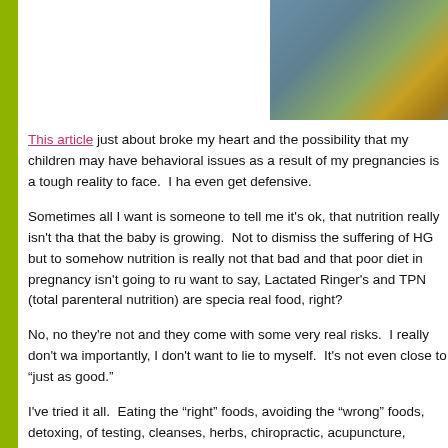[Figure (photo): Partial photo visible at top right, appears to show a blurred colorful scene with yellow and teal tones]
This article just about broke my heart and the possibility that my children may have behavioral issues as a result of my pregnancies is a tough reality to face. I ha even get defensive.
Sometimes all I want is someone to tell me it's ok, that nutrition really isn't tha that the baby is growing. Not to dismiss the suffering of HG but to somehow nutrition is really not that bad and that poor diet in pregnancy isn't going to ru want to say, Lactated Ringer's and TPN (total parenteral nutrition) are specia real food, right?
No, no they're not and they come with some very real risks. I really don't wa importantly, I don't want to lie to myself. It's not even close to "just as good."
I've tried it all. Eating the "right" foods, avoiding the "wrong" foods, detoxing, of testing, cleanses, herbs, chiropractic, acupuncture, positive thinking (can't though), prayer, supposed miracle drugs and so much more. Nothing has wo less awful. Every time I've been afraid of what the medications will do to my being on them would mean for both of us. It is not what I would choose and I experience I had hoped to have. And, I have to admit, sometimes when I hea pregnancy with no problems and never even took a Tylenol I not only get a lit